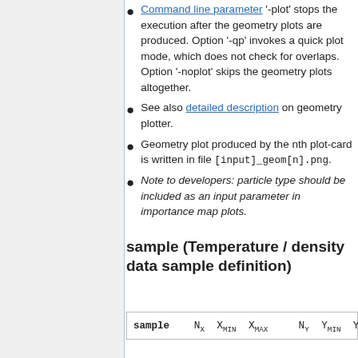Command line parameter '-plot' stops the execution after the geometry plots are produced. Option '-qp' invokes a quick plot mode, which does not check for overlaps. Option '-noplot' skips the geometry plots altogether.
See also detailed description on geometry plotter.
Geometry plot produced by the nth plot-card is written in file [input]_geom[n].png.
Note to developers: particle type should be included as an input parameter in importance map plots.
sample (Temperature / density data sample definition)